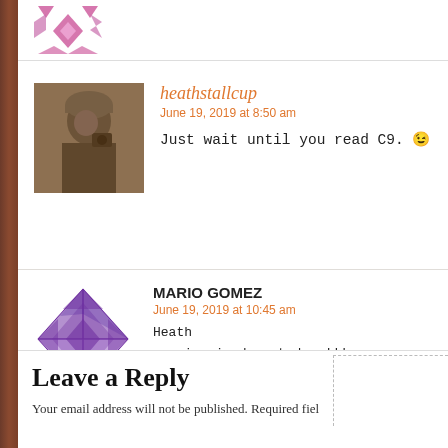[Figure (illustration): Pink/magenta geometric snowflake/quilt pattern decorative icon at top left]
heathstallcup
June 19, 2019 at 8:50 am
Just wait until you read C9. 😉
MARIO GOMEZ
June 19, 2019 at 10:45 am
Heath
you inspired me today !!!

keep up the GREAT stories

awaiting MARIO GOMEZ el mas chingon !!!
Leave a Reply
Your email address will not be published. Required fiel